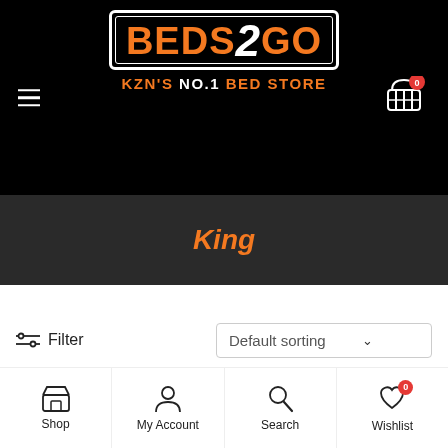[Figure (logo): Beds2Go logo - orange BEDS and GO text with white 2, black background, tagline KZN'S NO.1 BED STORE]
King
Filter
Default sorting
Shop | My Account | Search | Wishlist